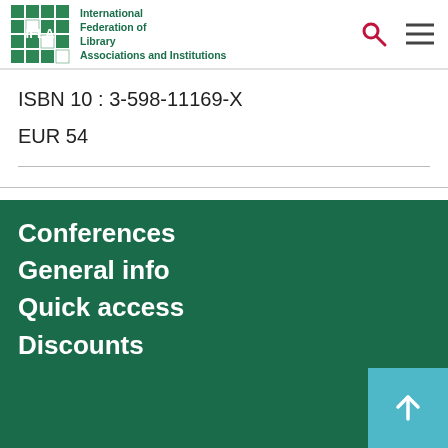International Federation of Library Associations and Institutions
ISBN 10 : 3-598-11169-X
EUR 54
Conferences
General info
Quick access
Discounts